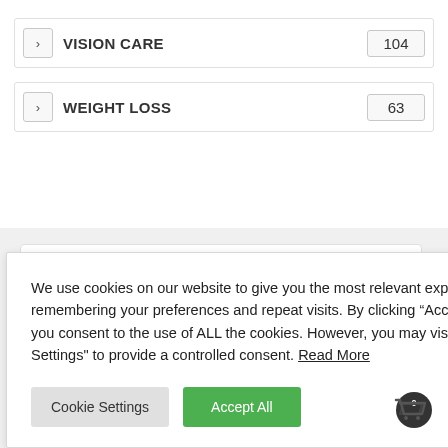VISION CARE  104
WEIGHT LOSS  63
We use cookies on our website to give you the most relevant experience by remembering your preferences and repeat visits. By clicking “Accept All”, you consent to the use of ALL the cookies. However, you may visit "Cookie Settings" to provide a controlled consent. Read More
ntly verified
Cookie Settings
Accept All